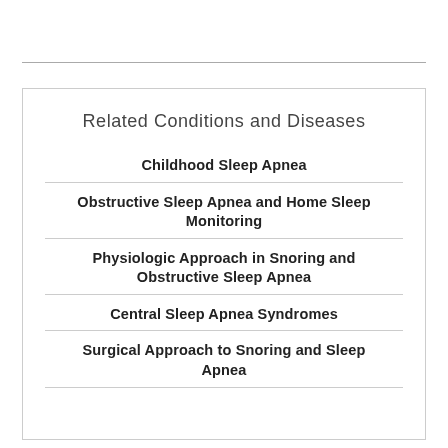Related Conditions and Diseases
Childhood Sleep Apnea
Obstructive Sleep Apnea and Home Sleep Monitoring
Physiologic Approach in Snoring and Obstructive Sleep Apnea
Central Sleep Apnea Syndromes
Surgical Approach to Snoring and Sleep Apnea